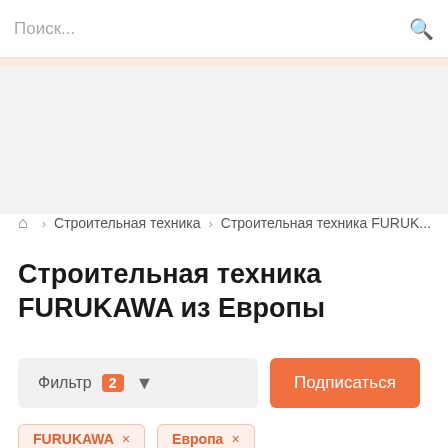Поиск...
Строительная техника › Строительная техника FURUK...
Строительная техника FURUKAWA из Европы
Фильтр 2 ▼  Подписаться
FURUKAWA ×
Европа ×
Строительная техника FURUKAWA: